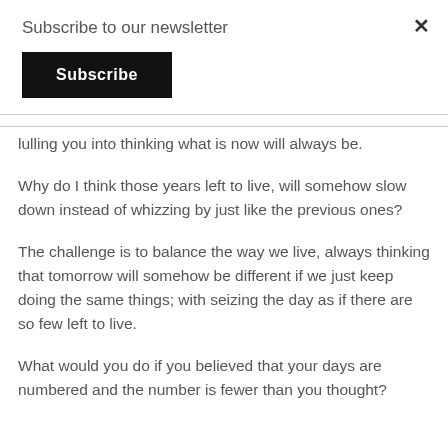Subscribe to our newsletter
Subscribe
×
lulling you into thinking what is now will always be.
Why do I think those years left to live, will somehow slow down instead of whizzing by just like the previous ones?
The challenge is to balance the way we live, always thinking that tomorrow will somehow be different if we just keep doing the same things; with seizing the day as if there are so few left to live.
What would you do if you believed that your days are numbered and the number is fewer than you thought?